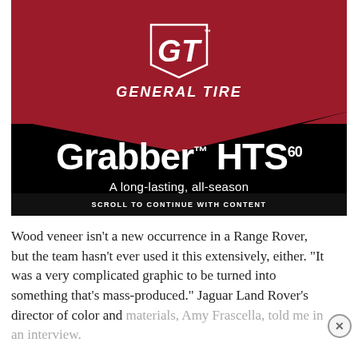[Figure (advertisement): General Tire advertisement featuring the Grabber HTS60 tire. Red section at top with GT logo and 'GENERAL TIRE' text, black section below with large white text 'Grabber TM HTS 60', subtitle 'A long-lasting, all-season', and a bottom bar reading 'SCROLL TO CONTINUE WITH CONTENT'.]
Wood veneer isn't a new occurrence in a Range Rover, but the team hasn't ever used it this extensively, either. "It was a very complicated graphic to be turned into something that's mass-produced." Jaguar Land Rover's director of color and materials, Amy Frascella, told me in an interview.